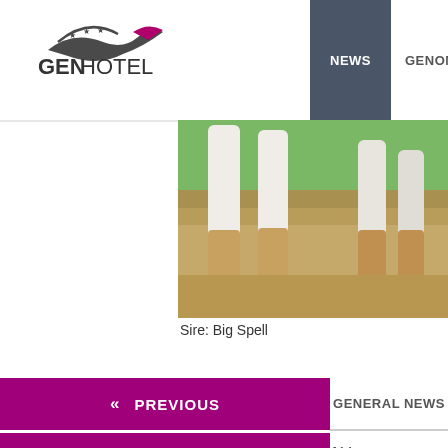GENHOTEL | NEWS | GENOMICS | SIRE OF SON
[Figure (photo): Close-up photo of dairy cow legs standing on sandy/dirt ground with green grass visible in background]
Sire: Big Spell
« PREVIOUS   GENERAL NEWS
« PREVIOUS   ALL CATEGORIES